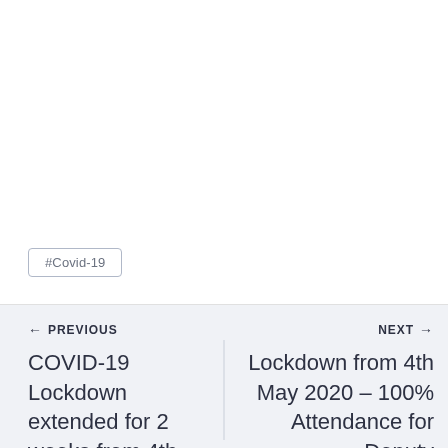#Covid-19
← PREVIOUS
COVID-19 Lockdown extended for 2 weeks from 4th May 2020
NEXT →
Lockdown from 4th May 2020 – 100% Attendance for Deputy